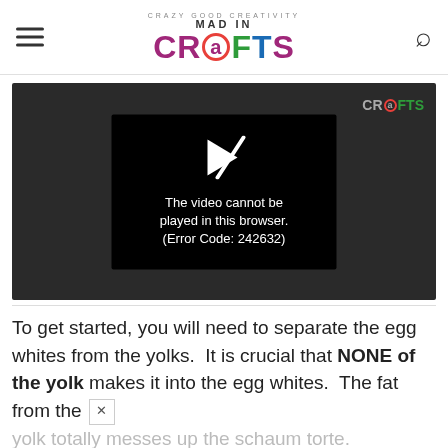Mad in Crafts — Crazy Good Creativity
[Figure (screenshot): Video player showing error: 'The video cannot be played in this browser. (Error Code: 242632)' with a broken play icon on a dark background. Mad in Crafts watermark logo in top right corner.]
To get started, you will need to separate the egg whites from the yolks.  It is crucial that NONE of the yolk makes it into the egg whites.  The fat from the yolk totally messes up the schaum torte.